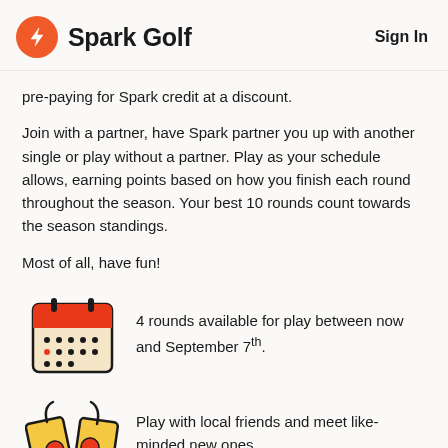Spark Golf | Sign In
pre-paying for Spark credit at a discount.
Join with a partner, have Spark partner you up with another single or play without a partner. Play as your schedule allows, earning points based on how you finish each round throughout the season. Your best 10 rounds count towards the season standings.
Most of all, have fun!
[Figure (illustration): Calendar icon with orange header and grid of date dots]
4 rounds available for play between now and September 7th.
[Figure (illustration): Two scorecards or golf bags clinking together icon]
Play with local friends and meet like-minded new ones.